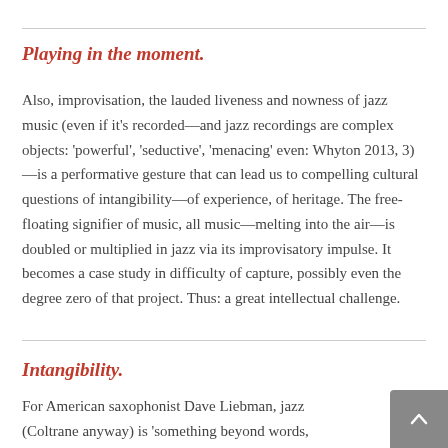Playing in the moment.
Also, improvisation, the lauded liveness and nowness of jazz music (even if it's recorded—and jazz recordings are complex objects: 'powerful', 'seductive', 'menacing' even: Whyton 2013, 3)—is a performative gesture that can lead us to compelling cultural questions of intangibility—of experience, of heritage. The free-floating signifier of music, all music—melting into the air—is doubled or multiplied in jazz via its improvisatory impulse. It becomes a case study in difficulty of capture, possibly even the degree zero of that project. Thus: a great intellectual challenge.
Intangibility.
For American saxophonist Dave Liebman, jazz (Coltrane anyway) is 'something beyond words, beyond the music'